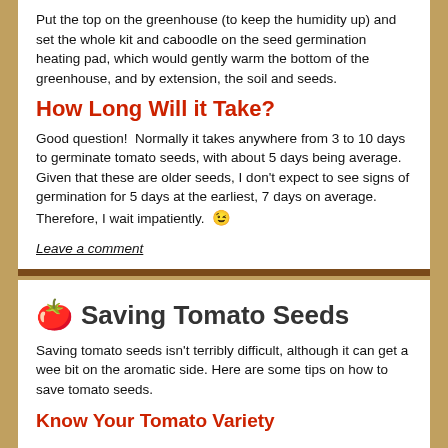Put the top on the greenhouse (to keep the humidity up) and set the whole kit and caboodle on the seed germination heating pad, which would gently warm the bottom of the greenhouse, and by extension, the soil and seeds.
How Long Will it Take?
Good question!  Normally it takes anywhere from 3 to 10 days to germinate tomato seeds, with about 5 days being average.  Given that these are older seeds, I don't expect to see signs of germination for 5 days at the earliest, 7 days on average.  Therefore, I wait impatiently. 😉
Leave a comment
🍅 Saving Tomato Seeds
Saving tomato seeds isn't terribly difficult, although it can get a wee bit on the aromatic side. Here are some tips on how to save tomato seeds.
Know Your Tomato Variety
(cut off at bottom)